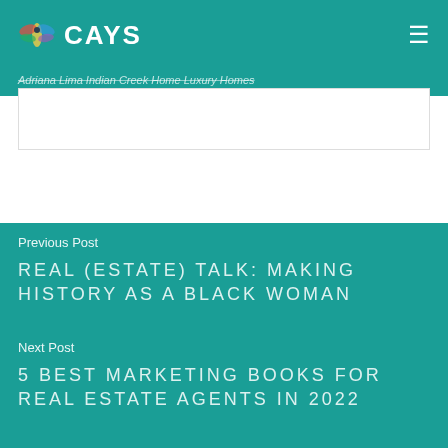CAYS
Adriana Lima Indian Creek Home Luxury Homes
[Figure (photo): Image placeholder white box]
Previous Post
REAL (ESTATE) TALK: MAKING HISTORY AS A BLACK WOMAN
Next Post
5 BEST MARKETING BOOKS FOR REAL ESTATE AGENTS IN 2022